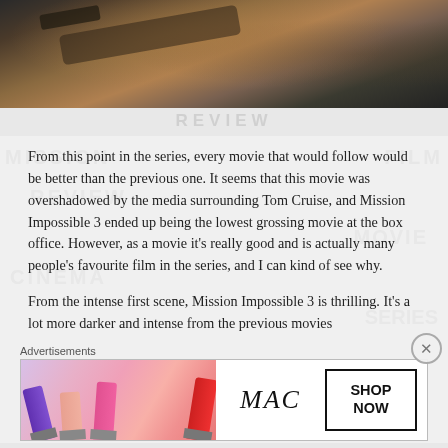[Figure (photo): Action photo showing person holding a gun, cropped at top of page]
From this point in the series, every movie that would follow would be better than the previous one. It seems that this movie was overshadowed by the media surrounding Tom Cruise, and Mission Impossible 3 ended up being the lowest grossing movie at the box office. However, as a movie it’s really good and is actually many people’s favourite film in the series, and I can kind of see why.
From the intense first scene, Mission Impossible 3 is thrilling. It’s a lot more darker and intense from the previous movies
[Figure (advertisement): MAC cosmetics advertisement showing lipsticks with SHOP NOW button]